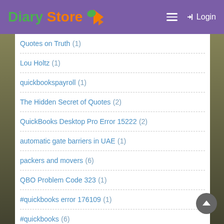Diary Store — Login
Quotes on Truth (1)
Lou Holtz (1)
quickbookspayroll (1)
The Hidden Secret of Quotes (2)
QuickBooks Desktop Pro Error 15222 (2)
automatic gate barriers in UAE (1)
packers and movers (6)
QBO Problem Code 323 (1)
#quickbooks error 176109 (1)
#quickbooks (6)
error 61 in QuickBooks (1)
#quickbooks suppport (1)